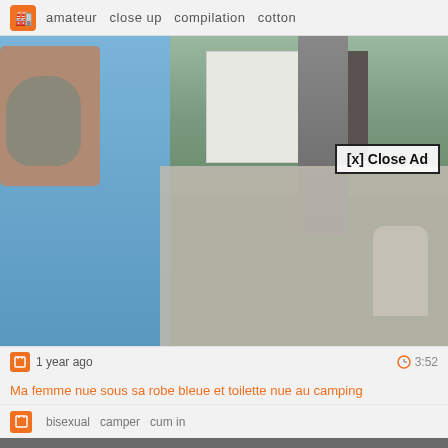amateur  close up  compilation  cotton
[Figure (screenshot): Video player screenshot showing an outdoor scene with a person in a blue dress holding a teddy bear on the left, a caravan/trailer in the background, grass, and a child figure on the right. An overlay ad covers the lower-right portion. A '[x] Close Ad' button appears over the main video.]
1 year ago
3:52
Ma femme nue sous sa robe bleue et toilette nue au camping
bisexual  camper  cum in